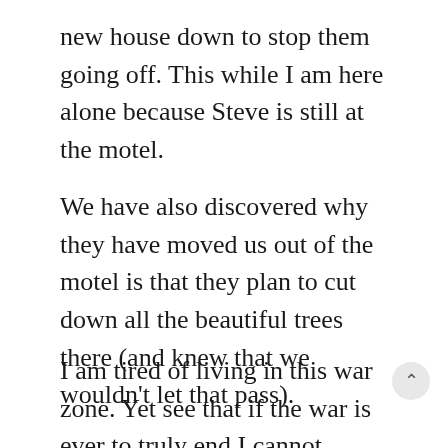new house down to stop them going off. This while I am here alone because Steve is still at the motel.
We have also discovered why they have moved us out of the motel is that they plan to cut down all the beautiful trees there (and knew that we wouldn't let that pass).
I am tired of living in this war zone. Yet see that if the war is ever to truly end I cannot